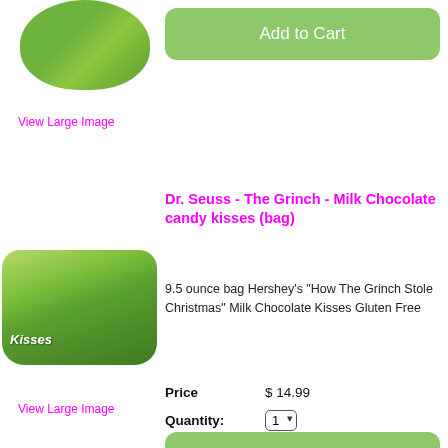[Figure (photo): Partial view of a green Grinch-themed product (top of page, cropped)]
Add to Cart
View Large Image
Dr. Seuss - The Grinch - Milk Chocolate candy kisses (bag)
9.5 ounce bag Hershey's "How The Grinch Stole Christmas" Milk Chocolate Kisses Gluten Free
[Figure (photo): Green bag of Hershey's Grinch-themed Milk Chocolate Kisses with the Grinch character on the front]
Price  $ 14.99
Quantity:  1
View Large Image
Add to Cart